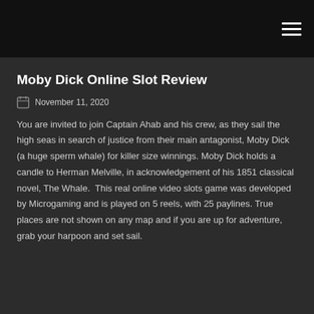Moby Dick Online Slot Review
November 11, 2020
You are invited to join Captain Ahab and his crew, as they sail the high seas in search of justice from their main antagonist, Moby Dick (a huge sperm whale) for killer size winnings. Moby Dick holds a candle to Herman Melville, in acknowledgement of his 1851 classical novel, The Whale.  This real online video slots game was developed by Microgaming and is played on 5 reels, with 25 paylines. True places are not shown on any map and if you are up for adventure, grab your harpoon and set sail.